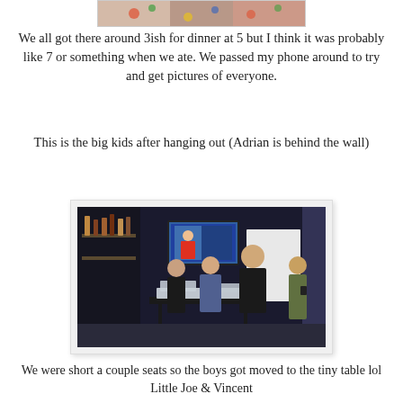[Figure (photo): Partial view of a photo at the top of the page showing colorful holiday/gift wrapping elements]
We all got there around 3ish for dinner at 5 but I think it was probably like 7 or something when we ate. We passed my phone around to try and get pictures of everyone.
This is the big kids after hanging out (Adrian is behind the wall)
[Figure (photo): Indoor photo of four people standing/sitting around a table in a dark room with a TV on the wall in the background. There are items on the table including what appears to be plastic containers.]
We were short a couple seats so the boys got moved to the tiny table lol
Little Joe & Vincent